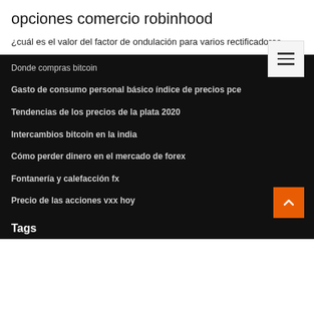opciones comercio robinhood
¿cuál es el valor del factor de ondulación para varios rectificadores_
Donde compras bitcoin
Gasto de consumo personal básico índice de precios pce
Tendencias de los precios de la plata 2020
Intercambios bitcoin en la india
Cómo perder dinero en el mercado de forex
Fontanería y calefacción fx
Precio de las acciones vxx hoy
Tags